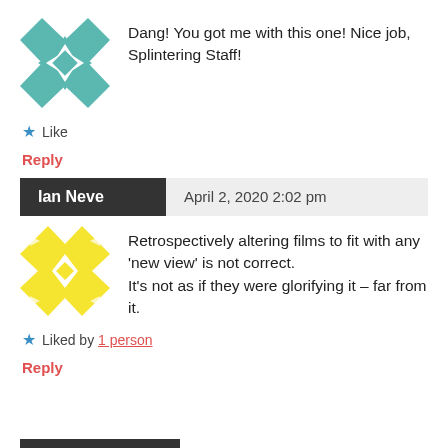[Figure (illustration): Teal and white geometric quilt pattern avatar]
Dang! You got me with this one! Nice job, Splintering Staff!
★ Like
Reply
Ian Neve  April 2, 2020 2:02 pm
[Figure (illustration): Yellow and white geometric quilt pattern avatar]
Retrospectively altering films to fit with any 'new view' is not correct.
It's not as if they were glorifying it – far from it.
★ Liked by 1 person
Reply